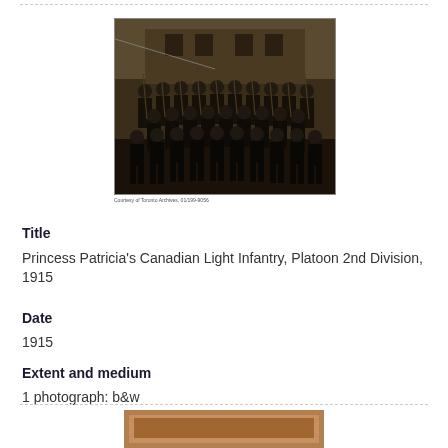[Figure (photo): Black and white group photograph of Princess Patricia's Canadian Light Infantry soldiers, Platoon 2nd Division, 1915. Large group of uniformed soldiers posed together outdoors.]
Courtesy of Toronto Archives, 01/199-9056
Title
Princess Patricia's Canadian Light Infantry, Platoon 2nd Division, 1915
Date
1915
Extent and medium
1 photograph: b&w